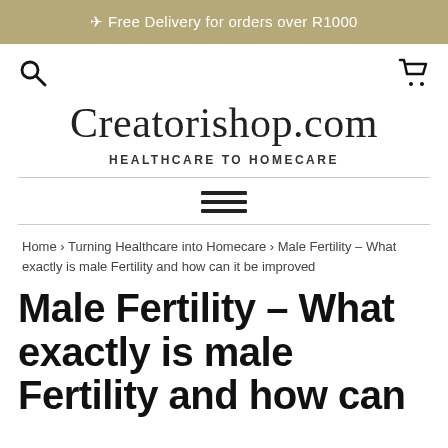✈ Free Delivery for orders over R1000
[Figure (other): Search icon (magnifying glass) on the left and shopping cart icon on the right, navigation bar icons]
Creatorishop.com
HEALTHCARE TO HOMECARE
[Figure (other): Hamburger menu icon - three horizontal lines]
Home › Turning Healthcare into Homecare › Male Fertility – What exactly is male Fertility and how can it be improved
Male Fertility – What exactly is male Fertility and how can